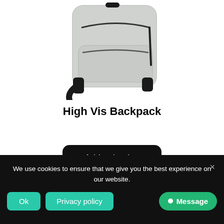[Figure (photo): A light gray high-visibility backpack photographed from the front against a white background, showing zipper details, a front pocket, and shoulder straps.]
High Vis Backpack
Add to basket
We use cookies to ensure that we give you the best experience on our website.
Ok
Privacy policy
Message